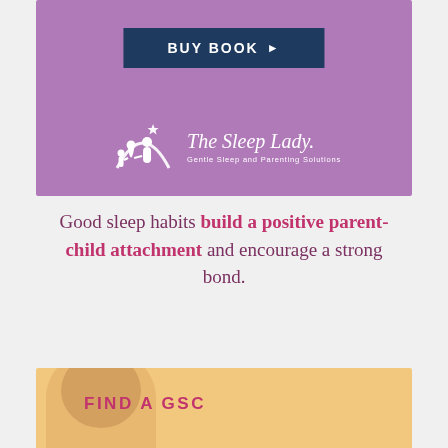[Figure (illustration): Purple promotional banner with a dark navy 'BUY BOOK' button and The Sleep Lady logo with tagline 'Gentle Sleep and Parenting Solutions']
Good sleep habits build a positive parent-child attachment and encourage a strong bond.
[Figure (photo): Bottom section with warm golden/tan background showing partial view of a woman's face and 'FIND A GSC' label in pink]